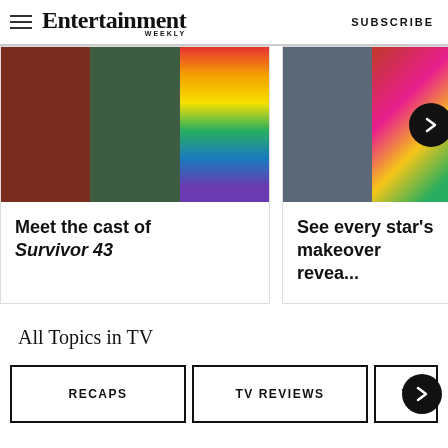Entertainment Weekly | SUBSCRIBE
[Figure (photo): Card showing Survivor 43 cast members in tropical setting with striped outfit]
Meet the cast of Survivor 43
[Figure (photo): Card showing star makeover reveal with colorful outfits and arrow navigation button]
See every star's makeover revea...
All Topics in TV
RECAPS
TV REVIEWS
→